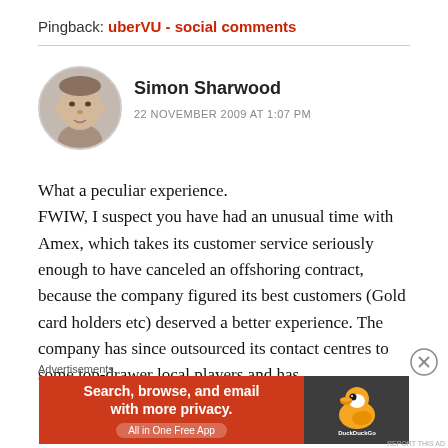Pingback: uberVU - social comments
[Figure (photo): Circular avatar photo of Simon Sharwood, a man with short hair]
Simon Sharwood
22 NOVEMBER 2009 AT 1:07 PM
What a peculiar experience.
FWIW, I suspect you have had an unusual time with Amex, which takes its customer service seriously enough to have canceled an offshoring contract, because the company figured its best customers (Gold card holders etc) deserved a better experience. The company has since outsourced its contact centres to some top-drawer local players and has
Advertisements
[Figure (infographic): DuckDuckGo advertisement banner: orange left panel reading 'Search, browse, and email with more privacy. All in One Free App', dark right panel with DuckDuckGo logo]